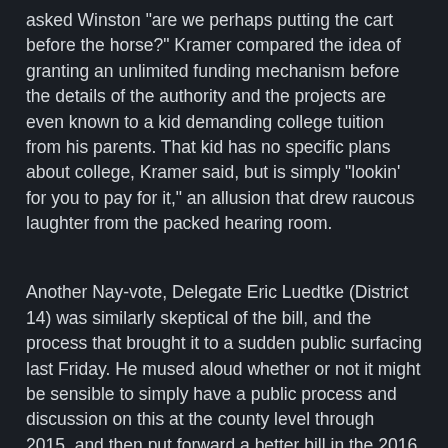asked Winston "are we perhaps putting the cart before the horse?" Kramer compared the idea of granting an unlimited funding mechanism before the details of the authority and the projects are even known to a kid demanding college tuition from his parents. That kid has no specific plans about college, Kramer said, but is simply "lookin' for you to pay for it," an allusion that drew raucous laughter from the packed hearing room.
Another Nay-vote, Delegate Eric Luedtke (District 14) was similarly skeptical of the bill, and the process that brought it to a sudden public surfacing last Friday. He mused aloud whether or not it might be sensible to simply have a public process and discussion on this at the county level through 2015, and then put forward a better bill in the 2016 session 12 months from now.
Luedtke's on-point questions also brought out a very significant aspect of the proposed authority I had never even considered. Because the ITA would not be backed by the "full faith and credit" of Montgomery County, it would